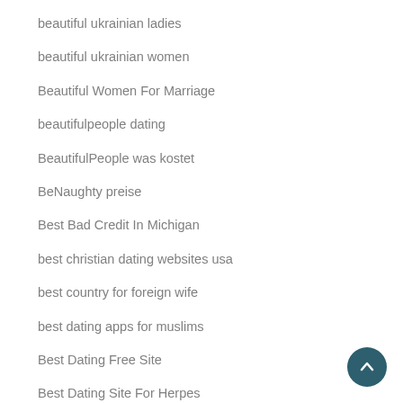beautiful ukrainian ladies
beautiful ukrainian women
Beautiful Women For Marriage
beautifulpeople dating
BeautifulPeople was kostet
BeNaughty preise
Best Bad Credit In Michigan
best christian dating websites usa
best country for foreign wife
best dating apps for muslims
Best Dating Free Site
Best Dating Site For Herpes